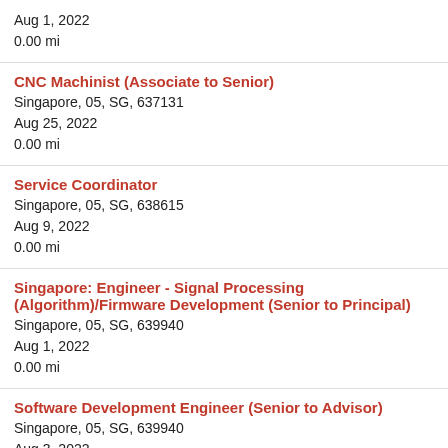Aug 1, 2022
0.00 mi
CNC Machinist (Associate to Senior)
Singapore, 05, SG, 637131
Aug 25, 2022
0.00 mi
Service Coordinator
Singapore, 05, SG, 638615
Aug 9, 2022
0.00 mi
Singapore: Engineer - Signal Processing (Algorithm)/Firmware Development (Senior to Principal)
Singapore, 05, SG, 639940
Aug 1, 2022
0.00 mi
Software Development Engineer (Senior to Advisor)
Singapore, 05, SG, 639940
Aug 3, 2022